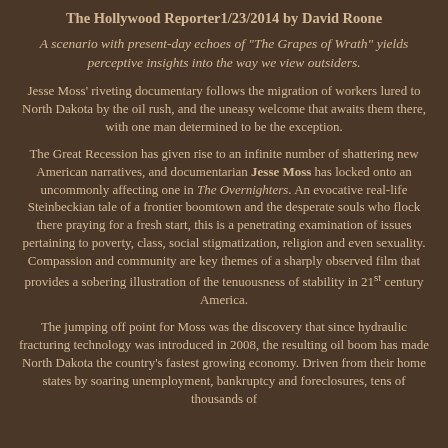The Hollywood Reporter1/23/2014 by David Roone
A scenario with present-day echoes of "The Grapes of Wrath" yields perceptive insights into the way we view outsiders.
Jesse Moss' riveting documentary follows the migration of workers lured to North Dakota by the oil rush, and the uneasy welcome that awaits them there, with one man determined to be the exception.
The Great Recession has given rise to an infinite number of shattering new American narratives, and documentarian Jesse Moss has locked onto an uncommonly affecting one in The Overnighters. An evocative real-life Steinbeckian tale of a frontier boomtown and the desperate souls who flock there praying for a fresh start, this is a penetrating examination of issues pertaining to poverty, class, social stigmatization, religion and even sexuality. Compassion and community are key themes of a sharply observed film that provides a sobering illustration of the tenuousness of stability in 21st century America.
The jumping off point for Moss was the discovery that since hydraulic fracturing technology was introduced in 2008, the resulting oil boom has made North Dakota the country's fastest growing economy. Driven from their home states by soaring unemployment, bankruptcy and foreclosures, tens of thousands of